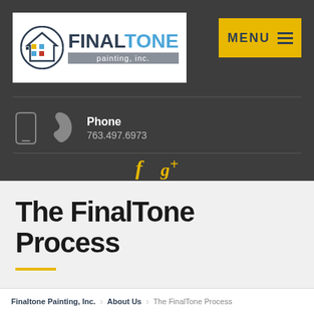[Figure (logo): FinalTone Painting, Inc. logo with circular house icon and company name]
MENU
Phone
763.497.6973
f  g+
The FinalTone Process
Finaltone Painting, Inc.  >  About Us  >  The FinalTone Process